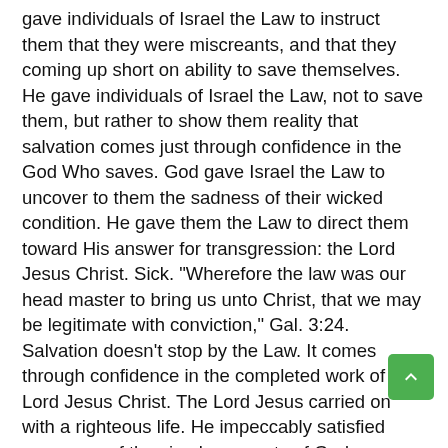gave individuals of Israel the Law to instruct them that they were miscreants, and that they coming up short on ability to save themselves. He gave individuals of Israel the Law, not to save them, but rather to show them reality that salvation comes just through confidence in the God Who saves. God gave Israel the Law to uncover to them the sadness of their wicked condition. He gave them the Law to direct them toward His answer for transgression: the Lord Jesus Christ. Sick. "Wherefore the law was our head master to bring us unto Christ, that we may be legitimate with conviction," Gal. 3:24. Salvation doesn't stop by the Law. It comes through confidence in the completed work of the Lord Jesus Christ. The Lord Jesus carried on with a righteous life. He impeccably satisfied every one of the simply requests of God contained in the Law. All jesus Christ impeccably and totally satisfied the ethical law of God, and when He passed on the cross for the transgressions of His kin, He everlastingly fulfilled God's requests for ideal exemplary nature for their sake. • "25 whom God both set out to be a satisfaction through confidence in his